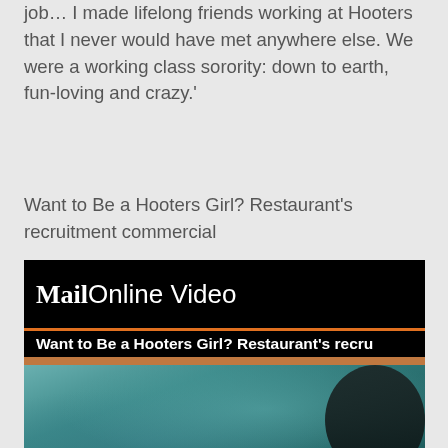job… I made lifelong friends working at Hooters that I never would have met anywhere else. We were a working class sorority: down to earth, fun-loving and crazy.'
Want to Be a Hooters Girl? Restaurant's recruitment commercial
[Figure (screenshot): MailOnline Video player screenshot showing 'Want to Be a Hooters Girl? Restaurant's recru...' with a video frame of a pool/hot tub scene with a dark figure visible]